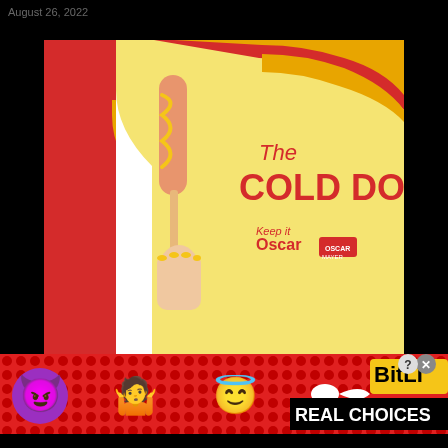August 26, 2022
[Figure (photo): Oscar Mayer 'The Cold Dog' advertisement. A hand holds a frozen hot dog on a stick with yellow mustard drizzle. The background is bright yellow with red and gold curved stripe accents. Text reads 'The COLD DOG' in large red bold letters and 'Keep it Oscar' with Oscar Mayer logo.]
[Figure (photo): BitLife mobile game advertisement banner on red dotted background. Shows emoji characters (devil, person shrugging, angel), a sperm emoji, BitLife logo in yellow, and text 'REAL CHOICES' in white on black background. Includes a close button (X).]